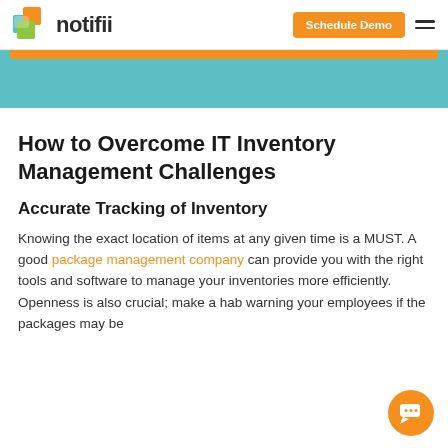notifii | Schedule Demo
[Figure (other): Teal banner strip with orange bar at top]
How to Overcome IT Inventory Management Challenges
Accurate Tracking of Inventory
Knowing the exact location of items at any given time is a MUST. A good package management company can provide you with the right tools and software to manage your inventories more efficiently. Openness is also crucial; make a hab warning your employees if the packages may be